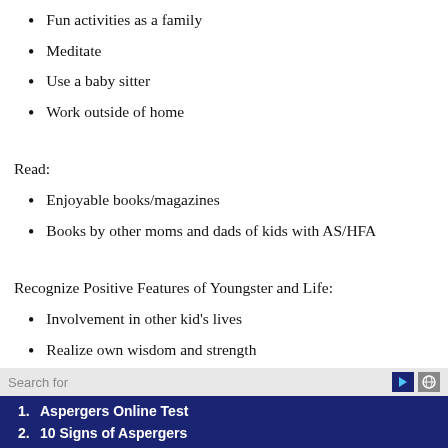Fun activities as a family
Meditate
Use a baby sitter
Work outside of home
Read:
Enjoyable books/magazines
Books by other moms and dads of kids with AS/HFA
Recognize Positive Features of Youngster and Life:
Involvement in other kid's lives
Realize own wisdom and strength
Recognize that the youngster is a fighter
See gains the youngster has made
Search for
1. Aspergers Online Test
2. 10 Signs of Aspergers